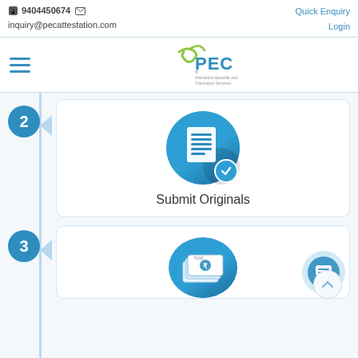9404450674  inquiry@pecattestation.com  Quick Enquiry  Login
[Figure (logo): PEC logo with tagline 'Attestation Apostille and Translation Services']
[Figure (infographic): Step 2 - Submit Originals: Blue circle with number 2, arrow pointing right, card with document/checklist icon and text 'Submit Originals']
[Figure (infographic): Step 3 - partially visible card with payment/money icon (rupee notes), chat bubble widget and scroll-to-top button visible]